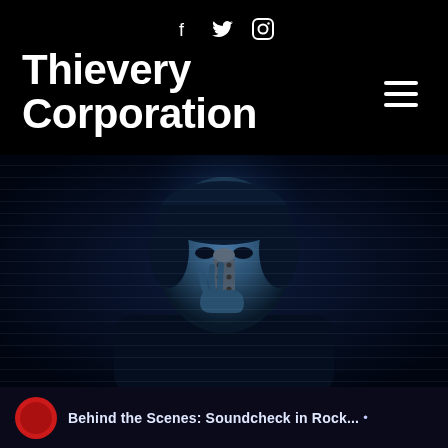f  twitter  instagram
Thievery Corporation
[Figure (photo): A woman in a dark blue-toned photo holding a microphone or instrument close to her face, fingers curled around it, looking intensely at it. The background is very dark navy/black.]
Behind the Scenes: Soundcheck in Rock...